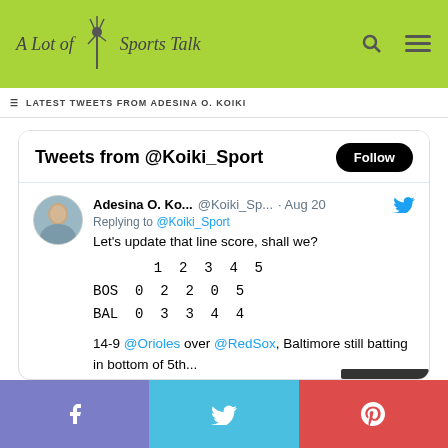[Figure (logo): A Lot of Sports Talk website logo with microphone graphic on green background]
≡ LATEST TWEETS FROM ADESINA O. KOIKI
Tweets from @Koiki_Sport
Adesina O. Ko... @Koiki_Sp... · Aug 20
Replying to @Koiki_Sport
Let's update that line score, shall we?

     1  2  3  4  5
BOS  0  2  2  0  5
BAL  0  3  3  4  4

14-9 @Orioles over @RedSox, Baltimore still batting in bottom of 5th...
3